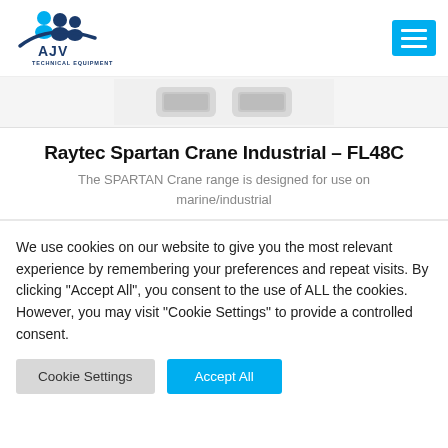[Figure (logo): AJV Technical Equipment logo with blue figures and swoosh design]
[Figure (photo): Partial product image of Raytec Spartan Crane Industrial FL48C lighting device, showing two rectangular light units on white/grey background]
Raytec Spartan Crane Industrial – FL48C
The SPARTAN Crane range is designed for use on marine/industrial
We use cookies on our website to give you the most relevant experience by remembering your preferences and repeat visits. By clicking "Accept All", you consent to the use of ALL the cookies. However, you may visit "Cookie Settings" to provide a controlled consent.